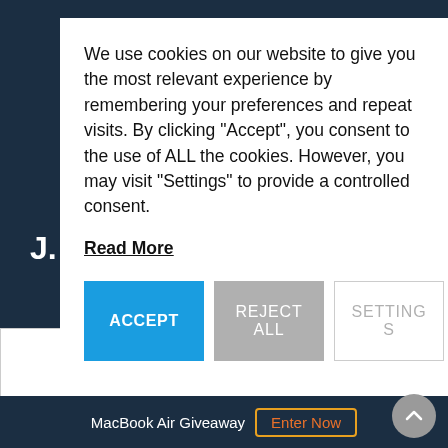[Figure (screenshot): Website cookie consent modal dialog overlaying a dark navy webpage background. The modal contains cookie consent text, a Read More link, and three buttons: ACCEPT (blue), REJECT ALL (gray), and SETTINGS (outlined). Behind the modal, a partial bold 'J.' is visible on the dark background. At the bottom of the page is a MacBook Air Giveaway banner with an Enter Now button and a scroll-up arrow button.]